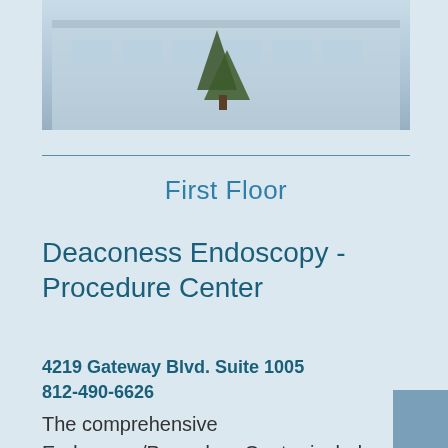[Figure (photo): Exterior photo of a medical building with trees and glass facade]
First Floor
Deaconess Endoscopy - Procedure Center
4219 Gateway Blvd. Suite 1005
812-490-6626
The comprehensive Endoscopy/Procedure Center includes eight procedure rooms for routine GI